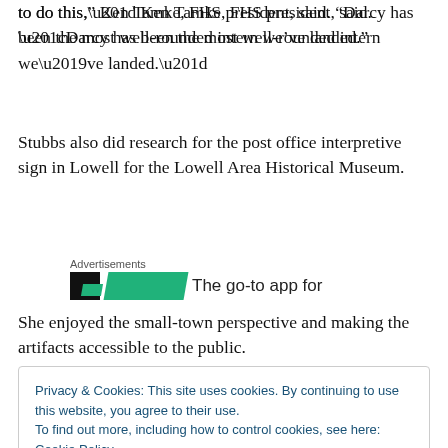to do this,” Ken Tamke, FHS president, said. “Darcy has been the most well-rounded intern we’ve landed.”
Stubbs also did research for the post office interpretive sign in Lowell for the Lowell Area Historical Museum.
[Figure (other): Advertisement banner: dark badge with green stripe and partial text reading 'The go-to app for']
She enjoyed the small-town perspective and making the artifacts accessible to the public.
Privacy & Cookies: This site uses cookies. By continuing to use this website, you agree to their use.
To find out more, including how to control cookies, see here: Cookie Policy